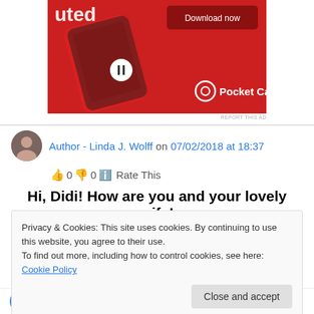[Figure (photo): Pocket Casts advertisement showing a smartphone with podcast app interface on a red background, with 'Download now' button and Pocket Casts logo]
REPORT THIS AD
Author - Linda J. Wolff on 07/02/2018 at 18:37
👍 0 👎 0 ℹ Rate This
Hi, Didi! How are you and your lovely wife!
Privacy & Cookies: This site uses cookies. By continuing to use this website, you agree to their use.
To find out more, including how to control cookies, see here: Cookie Policy
Close and accept
Didis Art Design on 07/02/2018 at 19:17